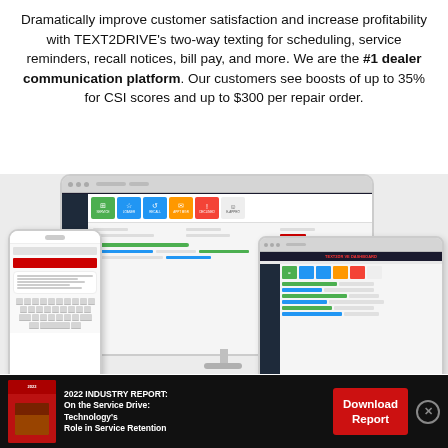Dramatically improve customer satisfaction and increase profitability with TEXT2DRIVE's two-way texting for scheduling, service reminders, recall notices, bill pay, and more. We are the #1 dealer communication platform. Our customers see boosts of up to 35% for CSI scores and up to $300 per repair order.
[Figure (screenshot): Screenshot of TEXT2DRIVE dashboard software shown on desktop monitor, tablet, and mobile phone devices]
2022 INDUSTRY REPORT: On the Service Drive: Technology's Role in Service Retention
Download Report